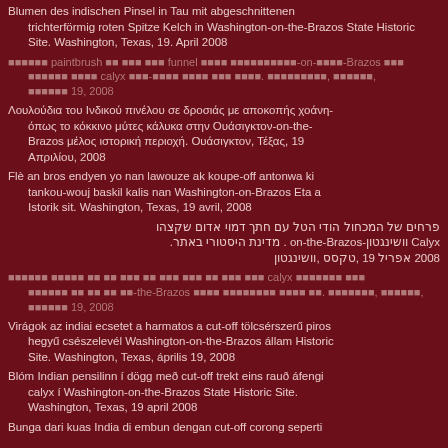Blumen des indischen Pinsel in Tau mit abgeschnittenen trichterförmig roten Spitze Kelch in Washington-on-the-Brazos State Historic Site. Washington, Texas, 19. April 2008
Indian paintbrush funnel Washington-on-the-Brazos calyx. Washington, Texas, 19, 2008
Λουλούδια του Ινδικού πινέλου σε δροσιάς με αποκοπής χοάνη-όπως το κόκκινο μύτες κάλυκα στην Ουάσιγκτον-on-the-Brazos μέλος ιστορική περιοχή. Ουάσιγκτον, Τέξας, 19 Απριλίου, 2008
Flè an bros endyen yo nan lawouze ak koupe-off antonwa ki tankou-wouj baskil kalis nan Washington-on-Brazos Eta a Istorik sit. Washington, Texas, 19 avril, 2008
פרחים של המכחול הודי הטל עם חתך דמוי אדום שקצהו Calyx וושינגטון-on-the-Brazos. מדינת היסטורי באתר. וושינגטון, טקסס, 19 אפריל 2008
Indian paintbrush calyx Washington-on-the-Brazos. Washington, Texas, 19, 2008
Virágok az indiai ecsetet a harmatos a cut-off tölcsérszerű piros hegyű csészelevél Washington-on-the-Brazos állam Historic Site. Washington, Texas, április 19, 2008
Blóm Indian pensilinn í dögg með cut-off trekt eins rauð áfengi calyx í Washington-on-the-Brazos State Historic Site. Washington, Texas, 19 april 2008
Bunga dari kuas India di embun dengan cut-off corong seperti Washington-on-the-Brazos State Historic Site